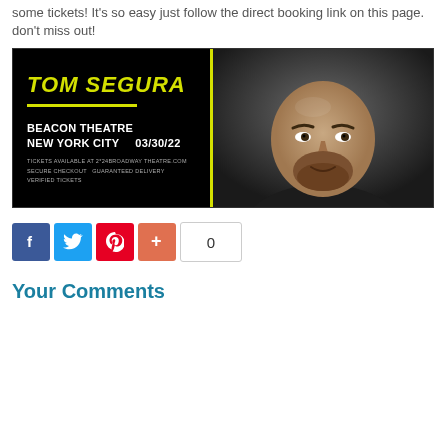some tickets! It's so easy just follow the direct booking link on this page. don't miss out!
[Figure (infographic): Tom Segura promotional banner for Beacon Theatre New York City 03/30/22 show, with yellow text on black background on the left and a photo of Tom Segura on the right]
[Figure (infographic): Social sharing buttons: Facebook (blue), Twitter (blue), Pinterest (red), Plus (orange-red), and a share count showing 0]
Your Comments